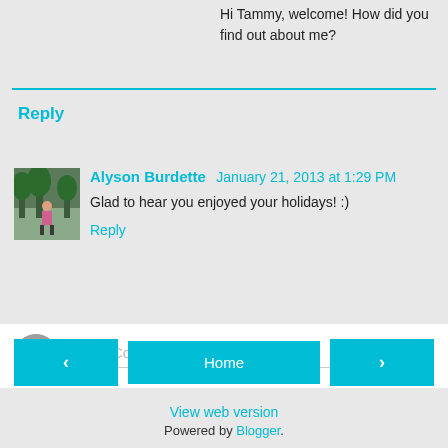Hi Tammy, welcome! How did you find out about me?
Reply
Alyson Burdette January 21, 2013 at 1:29 PM
Glad to hear you enjoyed your holidays! :)
Reply
[Figure (other): Comment input box with placeholder text 'Enter Comment' and user avatar icon]
Home | View web version | Powered by Blogger.